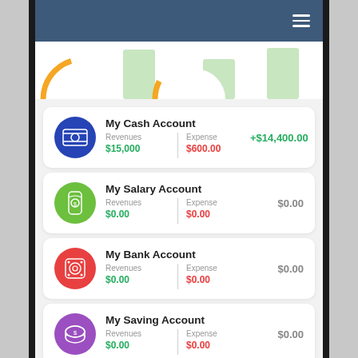[Figure (screenshot): Mobile app header bar with dark blue background and hamburger menu icon (three horizontal lines) on the right side]
[Figure (infographic): Partial chart area showing circular donut/ring chart segments in orange outline with light green bar chart elements in background]
My Cash Account
Revenues $15,000 | Expense $600.00 | +$14,400.00
My Salary Account
Revenues $0.00 | Expense $0.00 | $0.00
My Bank Account
Revenues $0.00 | Expense $0.00 | $0.00
My Saving Account
Revenues $0.00 | Expense $0.00 | $0.00